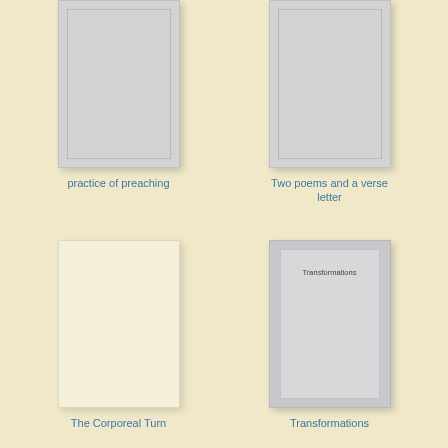[Figure (illustration): Book cover placeholder (gray) for 'practice of preaching']
practice of preaching
[Figure (illustration): Book cover placeholder (gray) for 'Two poems and a verse letter']
Two poems and a verse letter
[Figure (illustration): Book cover placeholder (cream/beige) for 'The Corporeal Turn']
The Corporeal Turn
[Figure (illustration): Book cover placeholder (gray with inner white panel showing 'Transformations' text) for 'Transformations']
Transformations